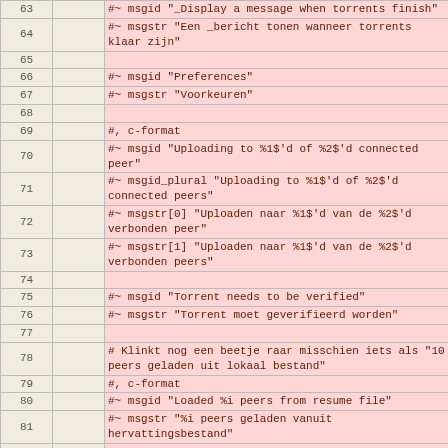| Line |  | Code |
| --- | --- | --- |
| 63 |  | #~ msgid "_Display a message when torrents finish" |
| 64 |  | #~ msgstr "Een _bericht tonen wanneer torrents klaar zijn" |
| 65 |  |  |
| 66 |  | #~ msgid "Preferences" |
| 67 |  | #~ msgstr "Voorkeuren" |
| 68 |  |  |
| 69 |  | #, c-format |
| 70 |  | #~ msgid "Uploading to %1$'d of %2$'d connected peer" |
| 71 |  | #~ msgid_plural "Uploading to %1$'d of %2$'d connected peers" |
| 72 |  | #~ msgstr[0] "Uploaden naar %1$'d van de %2$'d verbonden peer" |
| 73 |  | #~ msgstr[1] "Uploaden naar %1$'d van de %2$'d verbonden peers" |
| 74 |  |  |
| 75 |  | #~ msgid "Torrent needs to be verified" |
| 76 |  | #~ msgstr "Torrent moet geverifieerd worden" |
| 77 |  |  |
| 78 |  | # Klinkt nog een beetje raar misschien iets als "10 peers geladen uit lokaal bestand" |
| 79 |  | #, c-format |
| 80 |  | #~ msgid "Loaded %i peers from resume file" |
| 81 |  | #~ msgstr "%i peers geladen vanuit hervattingsbestand" |
| 82 |  |  |
| 83 |  | #, c-format |
| 84 |  | #~ msgid "Skipping unknown resume code %d" |
| 85 |  | #~ msgstr "Onbekende hervattingscode %d overslaan" |
| 86 |  |  |
| 87 |  | #, c-format |